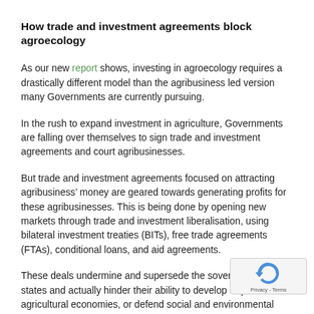How trade and investment agreements block agroecology
As our new report shows, investing in agroecology requires a drastically different model than the agribusiness led version many Governments are currently pursuing.
In the rush to expand investment in agriculture, Governments are falling over themselves to sign trade and investment agreements and court agribusinesses.
But trade and investment agreements focused on attracting agribusiness’ money are geared towards generating profits for these agribusinesses. This is being done by opening new markets through trade and investment liberalisation, using bilateral investment treaties (BITs), free trade agreements (FTAs), conditional loans, and aid agreements.
These deals undermine and supersede the sovereignty of states and actually hinder their ability to develop or protect agricultural economies, or defend social and environmental